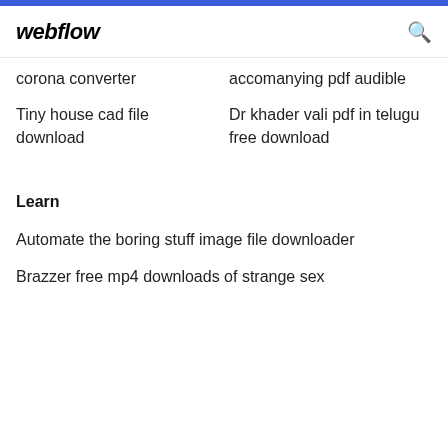webflow
corona converter
accomanying pdf audible
Tiny house cad file download
Dr khader vali pdf in telugu free download
Learn
Automate the boring stuff image file downloader
Brazzer free mp4 downloads of strange sex